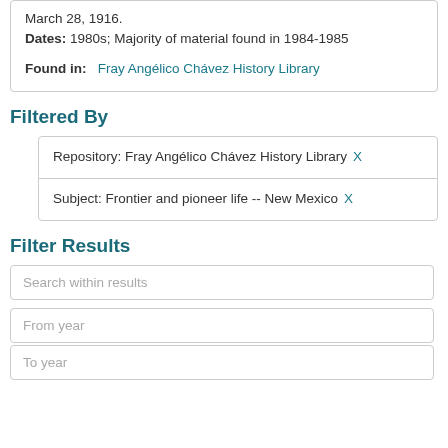March 28, 1916.
Dates: 1980s; Majority of material found in 1984-1985
Found in: Fray Angélico Chávez History Library
Filtered By
Repository: Fray Angélico Chávez History Library X
Subject: Frontier and pioneer life -- New Mexico X
Filter Results
Search within results
From year
To year